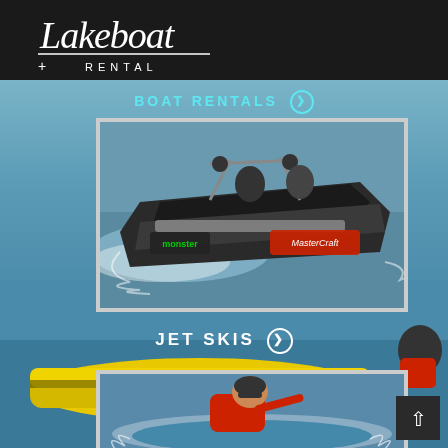[Figure (logo): Lakeboat Rental logo in white script and serif text on dark background]
BOAT RENTALS ➔
[Figure (photo): A MasterCraft wakeboard boat speeding on the water with multiple passengers]
[Figure (photo): Yellow Sea-Doo jet ski on water with rider in red jacket]
JET SKIS ➔
[Figure (photo): Person riding a jet ski leaning into a turn, wearing red jacket and sunglasses]